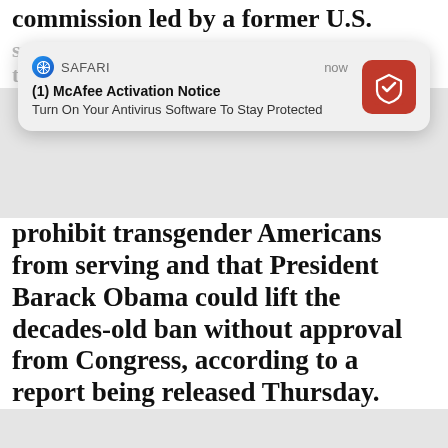commission led by a former U.S. surgeon general has concluded that there is no compelling medical reason to prohibit transgender Americans from serving and that President Barack Obama could lift the decades-old ban without approval from Congress, according to a report being released Thursday.
[Figure (screenshot): Safari browser push notification popup from McAfee: '(1) McAfee Activation Notice - Turn On Your Antivirus Software To Stay Protected', shown with McAfee red icon, timestamp 'now']
The report said Department of Defense re...ned
[Figure (infographic): Promoted content label overlay with X close button]
[Figure (photo): Ad image: fitness/supplement product with person showing abs and spice powder]
1 Serving On Empty Stomach Burns Belly And Arm Fat Overnight!
🔥 2,277
[Figure (photo): Ad image: anatomical illustration of legs with yellow highlighted areas]
How To Lose 40.5 Lbs In A Month (Eat This Once Every Day)
🔥 40,658